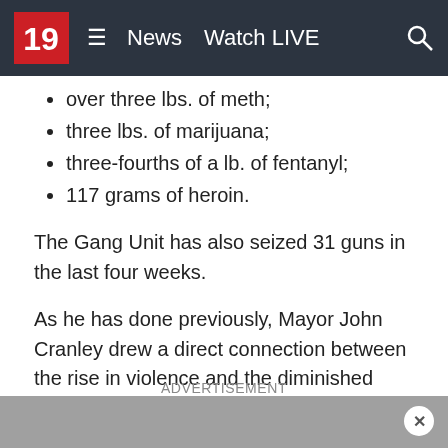19 News Watch LIVE
over three lbs. of meth;
three lbs. of marijuana;
three-fourths of a lb. of fentanyl;
117 grams of heroin.
The Gang Unit has also seized 31 guns in the last four weeks.
As he has done previously, Mayor John Cranley drew a direct connection between the rise in violence and the diminished capacity of CPD to engage with citizens and practice community-oriented policing.
ADVERTISEMENT